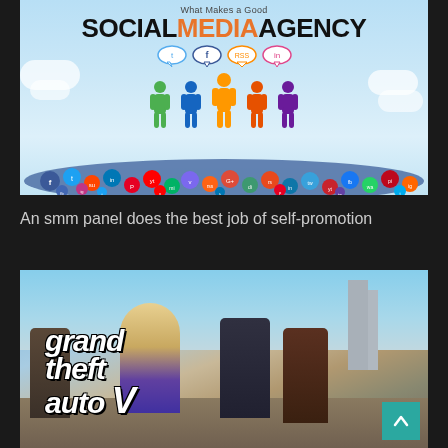[Figure (infographic): Infographic titled 'What Makes a Good SOCIAL MEDIA AGENCY' showing colorful human figures standing on a pile of social media icons/logos, with speech bubbles above containing social media icons (Twitter, Facebook, RSS, etc.)]
An smm panel does the best job of self-promotion
[Figure (photo): Grand Theft Auto V (GTA V) promotional image showing game characters with the game logo text 'grand theft auto V' in white stylized font against a sky background with various characters]